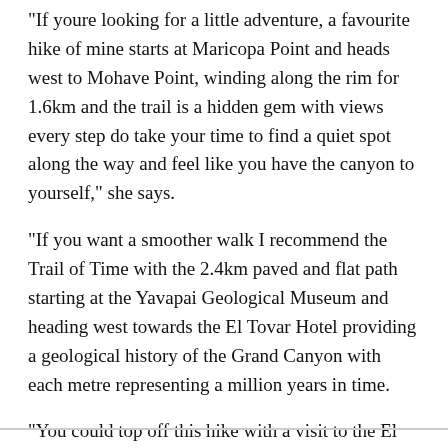“If youre looking for a little adventure, a favourite hike of mine starts at Maricopa Point and heads west to Mohave Point, winding along the rim for 1.6km and the trail is a hidden gem with views every step do take your time to find a quiet spot along the way and feel like you have the canyon to yourself,” she says.
“If you want a smoother walk I recommend the Trail of Time with the 2.4km paved and flat path starting at the Yavapai Geological Museum and heading west towards the El Tovar Hotel providing a geological history of the Grand Canyon with each metre representing a million years in time.
“You could top off this hike with a visit to the El Tovar Hotel and have a drink on the back porch taking in more of the view while giving your feet a rest.”